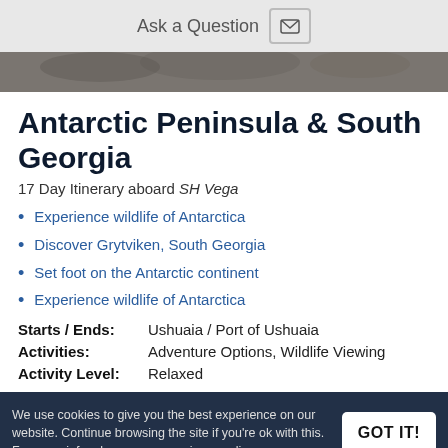Ask a Question
[Figure (photo): Dark photo strip, partial image of wildlife or Antarctic scene]
Antarctic Peninsula & South Georgia
17 Day Itinerary aboard SH Vega
Experience wildlife of Antarctica
Discover Grytviken, South Georgia
Set foot on the Antarctic continent
Experience wildlife of Antarctica
Starts / Ends: Ushuaia / Port of Ushuaia
Activities: Adventure Options, Wildlife Viewing
Activity Level: Relaxed
We use cookies to give you the best experience on our website. Continue browsing the site if you’re ok with this. For more info, please see our privacy policy.